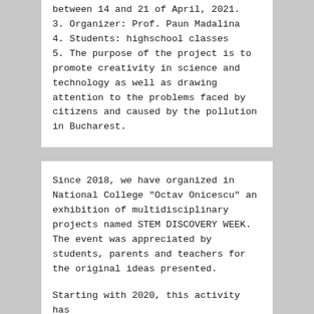between 14 and 21 of April, 2021.
3. Organizer: Prof. Paun Madalina
4. Students: highschool classes
5. The purpose of the project is to promote creativity in science and technology as well as drawing attention to the problems faced by citizens and caused by the pollution in Bucharest.
Since 2018, we have organized in National College "Octav Onicescu" an exhibition of multidisciplinary projects named STEM DISCOVERY WEEK. The event was appreciated by students, parents and teachers for the original ideas presented.
Starting with 2020, this activity has been taking place online: pupils, parents, teachers and also students of the technical faculties